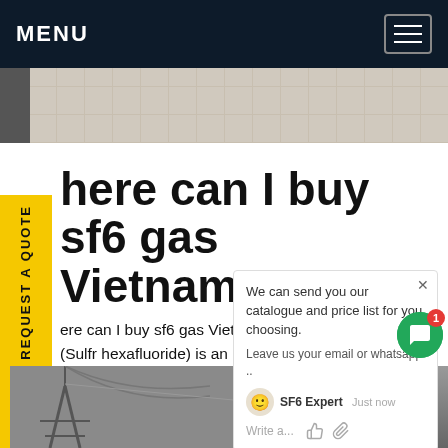MENU
[Figure (photo): Tiled floor/ceiling photo strip at top of page]
Where can I buy sf6 gas Vietnam
Where can I buy sf6 gas Vietnam,Sulfur Hexafluoride (Sulfr hexafluoride) is an inorganic, colorless, odorless, non-flammable, extremely potent greenhouse gas, and an excellent electrical insulator. The gas has an octahedral geometry, consisting of six fluorine atoms attached to a central sulfur atom. It is a hypervalent molecule.Get price
[Figure (screenshot): Chat popup overlay showing catalogue and price list offer from SF6 Expert]
[Figure (photo): Electrical transmission tower / substation equipment photo at bottom of page]